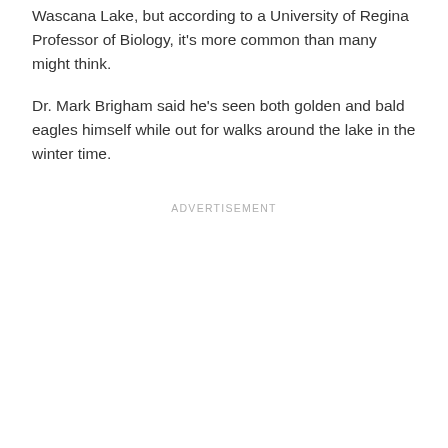Wascana Lake, but according to a University of Regina Professor of Biology, it's more common than many might think.
Dr. Mark Brigham said he's seen both golden and bald eagles himself while out for walks around the lake in the winter time.
ADVERTISEMENT